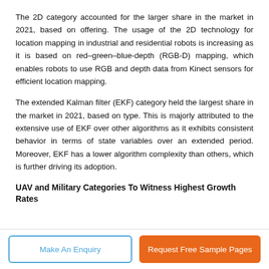The 2D category accounted for the larger share in the market in 2021, based on offering. The usage of the 2D technology for location mapping in industrial and residential robots is increasing as it is based on red–green–blue-depth (RGB-D) mapping, which enables robots to use RGB and depth data from Kinect sensors for efficient location mapping.
The extended Kalman filter (EKF) category held the largest share in the market in 2021, based on type. This is majorly attributed to the extensive use of EKF over other algorithms as it exhibits consistent behavior in terms of state variables over an extended period. Moreover, EKF has a lower algorithm complexity than others, which is further driving its adoption.
UAV and Military Categories To Witness Highest Growth Rates